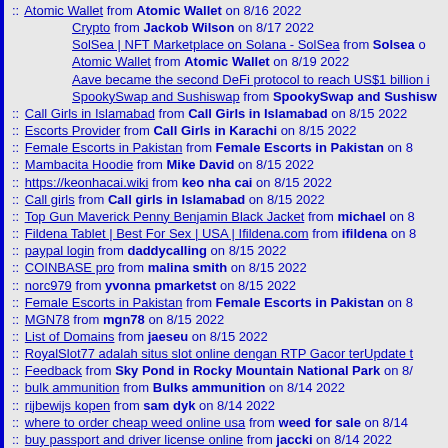:: Atomic Wallet from Atomic Wallet on 8/16 2022
Crypto from Jackob Wilson on 8/17 2022
SolSea | NFT Marketplace on Solana - SolSea from Solsea on
Atomic Wallet from Atomic Wallet on 8/19 2022
Aave became the second DeFi protocol to reach US$1 billion i
SpookySwap and Sushiswap from SpookySwap and Sushisw
:: Call Girls in Islamabad from Call Girls in Islamabad on 8/15 2022
:: Escorts Provider from Call Girls in Karachi on 8/15 2022
:: Female Escorts in Pakistan from Female Escorts in Pakistan on 8
:: Mambacita Hoodie from Mike David on 8/15 2022
:: https://keonhacai.wiki from keo nha cai on 8/15 2022
:: Call girls from Call girls in Islamabad on 8/15 2022
:: Top Gun Maverick Penny Benjamin Black Jacket from michael on 8
:: Fildena Tablet | Best For Sex | USA | Ifildena.com from ifildena on 8
:: paypal login from daddycalling on 8/15 2022
:: COINBASE pro from malina smith on 8/15 2022
:: norc979 from yvonna pmarketst on 8/15 2022
:: Female Escorts in Pakistan from Female Escorts in Pakistan on 8
:: MGN78 from mgn78 on 8/15 2022
:: List of Domains from jaeseu on 8/15 2022
:: RoyalSlot77 adalah situs slot online dengan RTP Gacor terUpdate t
:: Feedback from Sky Pond in Rocky Mountain National Park on 8/
:: bulk ammunition from Bulks ammunition on 8/14 2022
:: rijbewijs kopen from sam dyk on 8/14 2022
:: where to order cheap weed online usa from weed for sale on 8/14
:: buy passport and driver license online from jaccki on 8/14 2022
:: best place to buy guns and ammo online from wayna on 8/14 2022
:: Feedback from affordable roller shutters on 8/13 2022
:: Aviator Leather Jacket from michael on 8/13 2022
:: online satta matka from Misha Jain on 8/13 2022